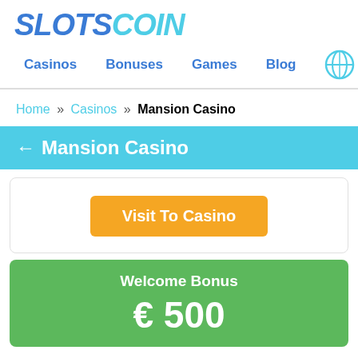SLOTSCOIN
Casinos  Bonuses  Games  Blog
Home » Casinos » Mansion Casino
← Mansion Casino
[Figure (other): Orange button labeled 'Visit To Casino']
Welcome Bonus
€ 500